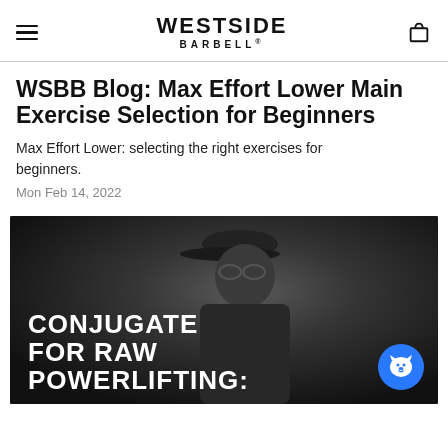WESTSIDE BARBELL
WSBB Blog: Max Effort Lower Main Exercise Selection for Beginners
Max Effort Lower: selecting the right exercises for beginners.
Mon Feb 14, 2022
[Figure (photo): Black and white photo of a man wearing a cap and glasses, with white bold text overlay reading CONJUGATE FOR RAW POWERLIFTING: and a blue chat button in the lower right corner]